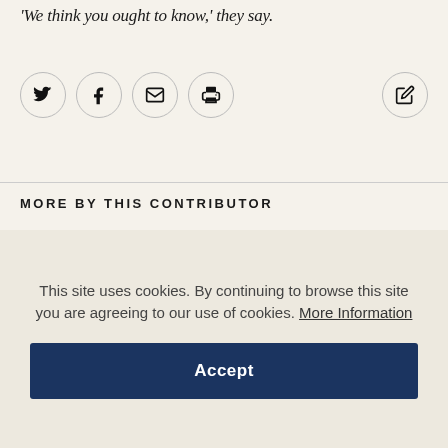of voices wriggling in and out of graves.
‘We think you ought to know,’ they say.
[Figure (infographic): Social share buttons row: Twitter, Facebook, Email, Print icons in circular bordered buttons; edit/share icon on far right]
MORE BY THIS CONTRIBUTOR
This site uses cookies. By continuing to browse this site you are agreeing to our use of cookies. More Information
Accept